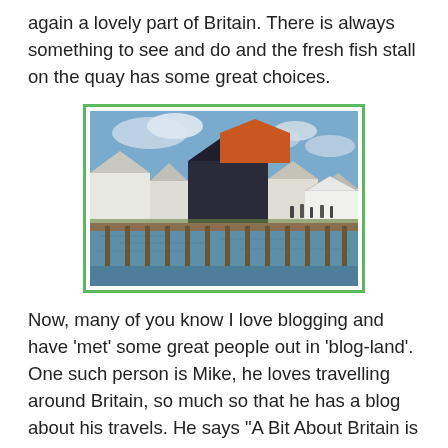again a lovely part of Britain. There is always something to see and do and the fresh fish stall on the quay has some great choices.
[Figure (photo): Waterfront scene showing traditional British waterside buildings including a dark-painted barn-style structure with an orange/red roof, white buildings, and a wooden quay/pier extending over calm water, taken on a partly cloudy day.]
Now, many of you know I love blogging and have 'met' some great people out in 'blog-land'. One such person is Mike, he loves travelling around Britain, so much so that he has a blog about his travels. He says "A Bit About Britain is a personal project that aims to inspire, inform and entertain. If you're looking for ideas for places to visit, you should find some inspiration in the growing Attraction Directory. If you like stories, hopefully you will like browsing the articles, or posts, on his blog. These are aimed at people who are just